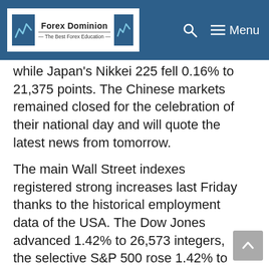Forex Dominion — The Best Forex Education
while Japan's Nikkei 225 fell 0.16% to 21,375 points. The Chinese markets remained closed for the celebration of their national day and will quote the latest news from tomorrow.
The main Wall Street indexes registered strong increases last Friday thanks to the historical employment data of the USA. The Dow Jones advanced 1.42% to 26,573 integers, the selective S&P 500 rose 1.42% to 2,952, and the Nasdaq market composite index closed with a 1.40% increase up to 7,982 units.